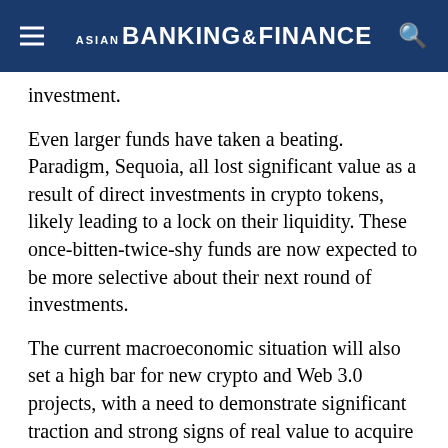ASIAN BANKING & FINANCE
investment.
Even larger funds have taken a beating. Paradigm, Sequoia, all lost significant value as a result of direct investments in crypto tokens, likely leading to a lock on their liquidity. These once-bitten-twice-shy funds are now expected to be more selective about their next round of investments.
The current macroeconomic situation will also set a high bar for new crypto and Web 3.0 projects, with a need to demonstrate significant traction and strong signs of real value to acquire funding. As interest rates rise, that caution is likely to trigger large volumes shifting away from crypto and back towards traditional assets...